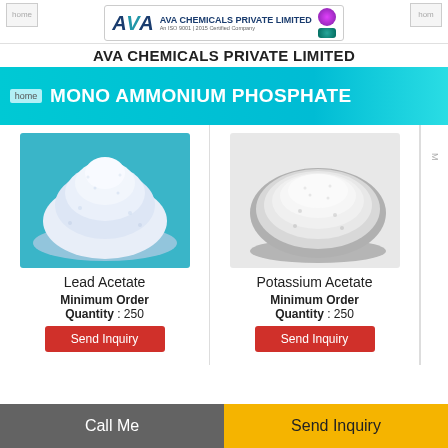AVA CHEMICALS PRIVATE LIMITED
MONO AMMONIUM PHOSPHATE
[Figure (photo): White powder heap of Lead Acetate on blue background]
Lead Acetate
Minimum Order Quantity : 250
Send Inquiry
[Figure (photo): White granular pile of Potassium Acetate on white/grey background]
Potassium Acetate
Minimum Order Quantity : 250
Send Inquiry
Call Me | Send Inquiry